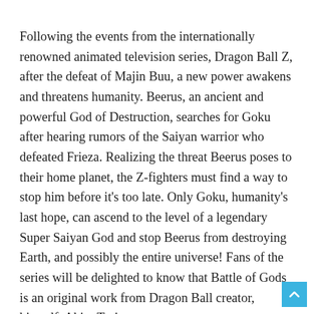Following the events from the internationally renowned animated television series, Dragon Ball Z, after the defeat of Majin Buu, a new power awakens and threatens humanity. Beerus, an ancient and powerful God of Destruction, searches for Goku after hearing rumors of the Saiyan warrior who defeated Frieza. Realizing the threat Beerus poses to their home planet, the Z-fighters must find a way to stop him before it's too late. Only Goku, humanity's last hope, can ascend to the level of a legendary Super Saiyan God and stop Beerus from destroying Earth, and possibly the entire universe! Fans of the series will be delighted to know that Battle of Gods is an original work from Dragon Ball creator, himself, Akira Toriyama.